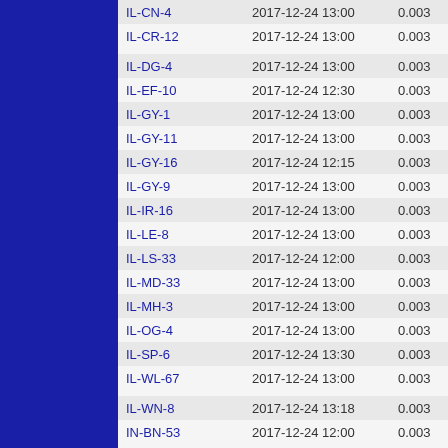| Station | DateTime | Value | 24 |
| --- | --- | --- | --- |
| IL-CN-4 | 2017-12-24 13:00 | 0.003 | 24 |
| IL-CR-12 | 2017-12-24 13:00 | 0.003 | 24 |
| IL-DG-4 | 2017-12-24 13:00 | 0.003 | 24 |
| IL-EF-10 | 2017-12-24 12:30 | 0.003 | 24 |
| IL-GY-1 | 2017-12-24 13:00 | 0.003 | 24 |
| IL-GY-11 | 2017-12-24 13:00 | 0.003 | 24 |
| IL-GY-16 | 2017-12-24 12:15 | 0.003 | 24 |
| IL-GY-9 | 2017-12-24 13:00 | 0.003 | 24 |
| IL-IR-16 | 2017-12-24 13:00 | 0.003 | 24 |
| IL-LE-8 | 2017-12-24 13:00 | 0.003 | 24 |
| IL-LS-33 | 2017-12-24 12:00 | 0.003 | 24 |
| IL-MD-33 | 2017-12-24 13:00 | 0.003 | 24 |
| IL-MH-3 | 2017-12-24 13:00 | 0.003 | 24 |
| IL-OG-4 | 2017-12-24 13:00 | 0.003 | 24 |
| IL-SP-6 | 2017-12-24 13:30 | 0.003 | 24 |
| IL-WL-67 | 2017-12-24 13:00 | 0.003 | 24 |
| IL-WN-8 | 2017-12-24 13:18 | 0.003 | 24 |
| IN-BN-53 | 2017-12-24 12:00 | 0.003 | 24 |
| IN-BW-10 | 2017-12-24 13:30 | 0.003 | 24 |
| IN-CL-14 | 2017-12-24 12:00 | 0.003 | 24 |
| IN-DC-7 | 2017-12-24 12:00 | 0.003 | 24 |
| IN-DR-3 | 2017-12-24 13:00 | 0.003 | 24 |
| IN-DR-3 | 2017-12-24 12:00 | 0.003 | 24 |
| IN-HR-5 | 2017-12-24 12:00 | 0.003 | 24 |